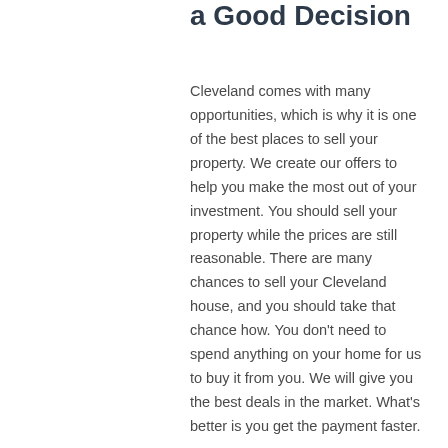a Good Decision
Cleveland comes with many opportunities, which is why it is one of the best places to sell your property. We create our offers to help you make the most out of your investment. You should sell your property while the prices are still reasonable. There are many chances to sell your Cleveland house, and you should take that chance how. You don’t need to spend anything on your home for us to buy it from you. We will give you the best deals in the market. What’s better is you get the payment faster.